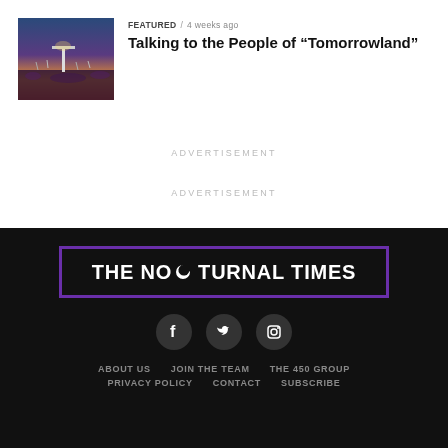FEATURED / 4 weeks ago
Talking to the People of “Tomorrowland”
[Figure (photo): Aerial/wide shot of Tomorrowland music festival with large stage structure and massive crowd at dusk with colorful sky]
ADVERTISEMENT
ADVERTISEMENT
[Figure (logo): The Nocturnal Times logo: white bold text on black background inside purple border rectangle with crescent moon replacing the letter C in NOC]
[Figure (infographic): Social media icons: Facebook, Twitter, Instagram in dark circular buttons]
ABOUT US   JOIN THE TEAM   THE 450 GROUP
PRIVACY POLICY   CONTACT   SUBSCRIBE